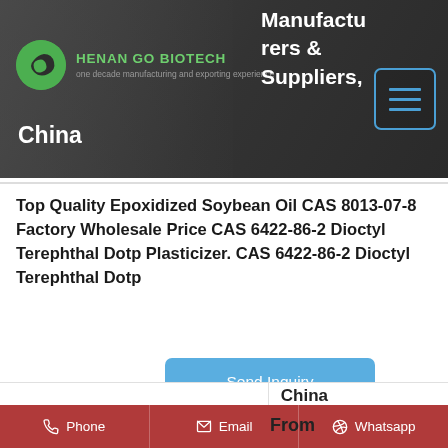[Figure (logo): Henan Go Biotech company logo with green circle icon and company name, tagline 'one decade manufacturing and exporting experience'. Dark background header with text 'Manufacturers & Suppliers, China' on right side with menu icon.]
Top Quality Epoxidized Soybean Oil CAS 8013-07-8 Factory Wholesale Price CAS 6422-86-2 Dioctyl Terephthal Dotp Plasticizer. CAS 6422-86-2 Dioctyl Terephthal Dotp
Send Inquiry
Get Price
China
From
Phone    Email    Whatsapp